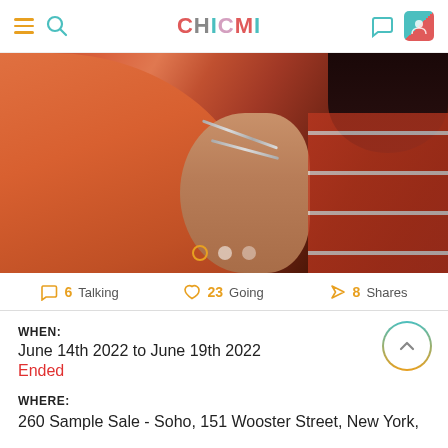CHICMI
[Figure (photo): Fashion photo of a person wearing an orange/coral top with a silver chain necklace, posing with hand near chin against a red and striped background.]
6 Talking   23 Going   8 Shares
WHEN:
June 14th 2022 to June 19th 2022
Ended
WHERE:
260 Sample Sale - Soho, 151 Wooster Street, New York,